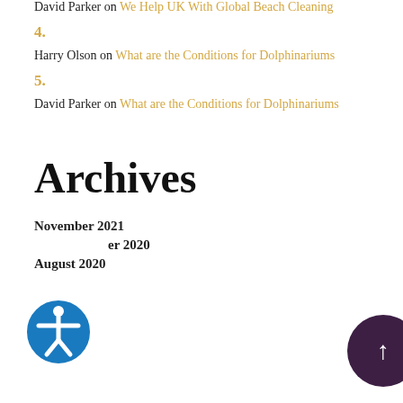David Parker on We Help UK With Global Beach Cleaning
4.
Harry Olson on What are the Conditions for Dolphinariums
5.
David Parker on What are the Conditions for Dolphinariums
Archives
November 2021
er 2020
August 2020